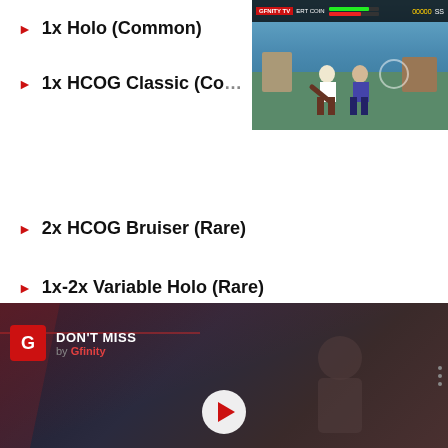1x Holo (Common)
1x HCOG Classic (Co…)
[Figure (screenshot): Video game screenshot showing fighting game with HUD bar at top]
2x HCOG Bruiser (Rare)
1x-2x Variable Holo (Rare)
3x HCOG Ranger (Epic)
2x-4x Variable AOG (Epic)
[Figure (screenshot): Gfinity DON'T MISS video panel with play button, showing game artwork]